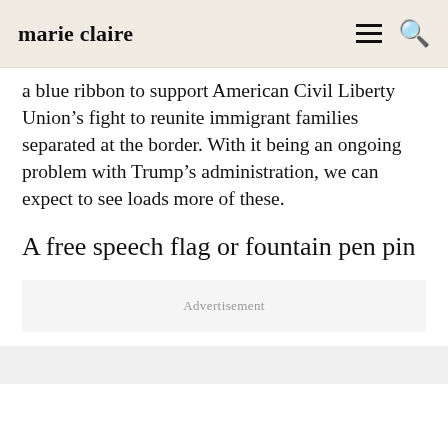marie claire
a blue ribbon to support American Civil Liberty Union’s fight to reunite immigrant families separated at the border. With it being an ongoing problem with Trump’s administration, we can expect to see loads more of these.
A free speech flag or fountain pen pin
Advertisement